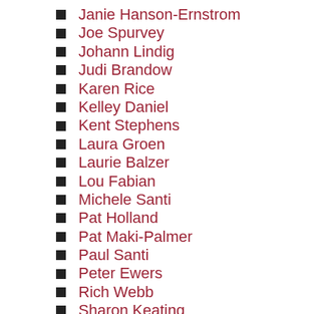Janie Hanson-Ernstrom
Joe Spurvey
Johann Lindig
Judi Brandow
Karen Rice
Kelley Daniel
Kent Stephens
Laura Groen
Laurie Balzer
Lou Fabian
Michele Santi
Pat Holland
Pat Maki-Palmer
Paul Santi
Peter Ewers
Rich Webb
Sharon Keating